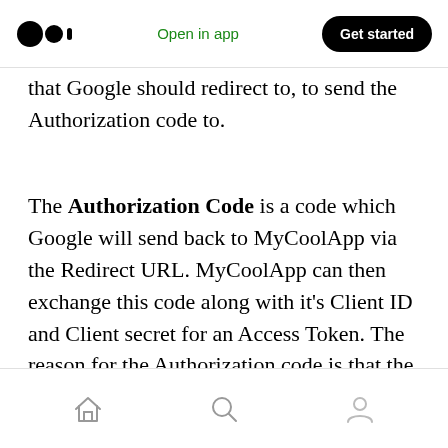Medium logo | Open in app | Get started
that Google should redirect to, to send the Authorization code to.
The Authorization Code is a code which Google will send back to MyCoolApp via the Redirect URL. MyCoolApp can then exchange this code along with it's Client ID and Client secret for an Access Token. The reason for the Authorization code is that the code is returned via the url and has the potential to be viewed by a third party, but is useless without the client id and client secret that only MyCoolApp has.
Home | Search | Profile